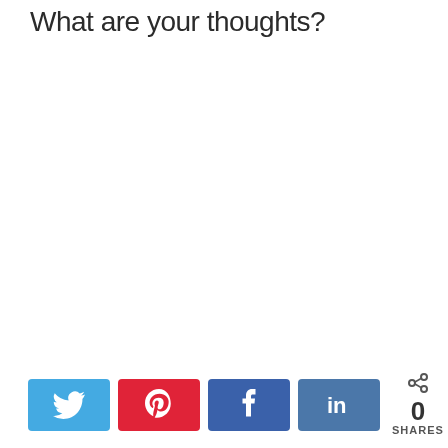What are your thoughts?
[Figure (infographic): Social share bar with Twitter, Pinterest, Facebook, LinkedIn buttons and a share count of 0 SHARES]